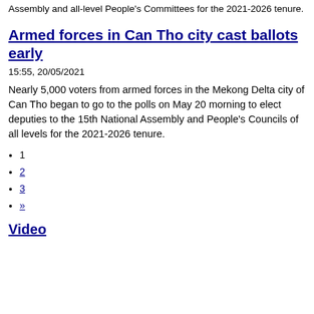Assembly and all-level People's Committees for the 2021-2026 tenure.
Armed forces in Can Tho city cast ballots early
15:55, 20/05/2021
Nearly 5,000 voters from armed forces in the Mekong Delta city of Can Tho began to go to the polls on May 20 morning to elect deputies to the 15th National Assembly and People's Councils of all levels for the 2021-2026 tenure.
1
2
3
»
Video